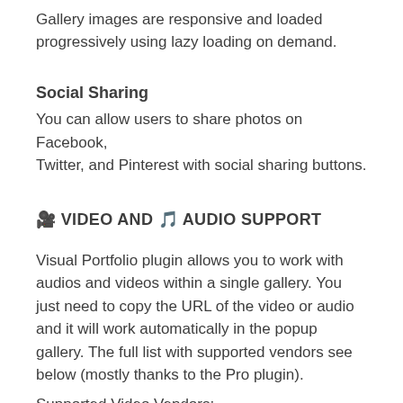Gallery images are responsive and loaded progressively using lazy loading on demand.
Social Sharing
You can allow users to share photos on Facebook, Twitter, and Pinterest with social sharing buttons.
🎥 VIDEO AND 🎵 AUDIO SUPPORT
Visual Portfolio plugin allows you to work with audios and videos within a single gallery. You just need to copy the URL of the video or audio and it will work automatically in the popup gallery. The full list with supported vendors see below (mostly thanks to the Pro plugin).
Supported Video Vendors:
Youtube
Vimeo